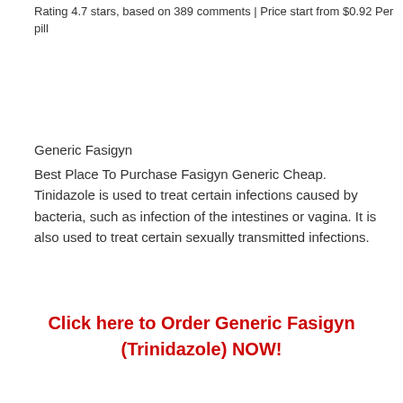Rating 4.7 stars, based on 389 comments | Price start from $0.92 Per pill
Generic Fasigyn
Best Place To Purchase Fasigyn Generic Cheap. Tinidazole is used to treat certain infections caused by bacteria, such as infection of the intestines or vagina. It is also used to treat certain sexually transmitted infections.
Click here to Order Generic Fasigyn (Trinidazole) NOW!